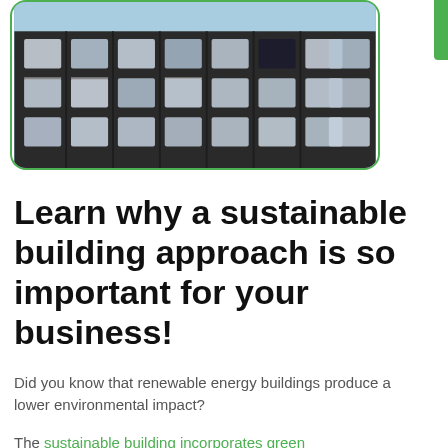[Figure (photo): Photograph of a modern dark-facade apartment or office building with a grid of square windows and balconies, shown inside a rounded green-bordered frame. A green rectangular badge is visible at the top right.]
Learn why a sustainable building approach is so important for your business!
Did you know that renewable energy buildings produce a lower environmental impact?
The sustainable building incorporates green